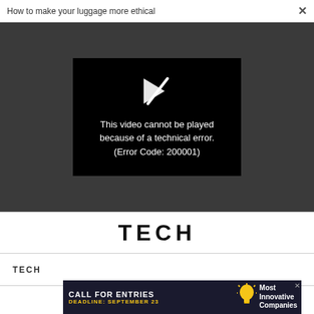How to make your luggage more ethical  ×
[Figure (screenshot): Video player showing error: black rectangle with broken play icon and text 'This video cannot be played because of a technical error. (Error Code: 200001)' on a dark gray background.]
TECH
TECH
[Figure (infographic): Advertisement banner: dark background, text 'CALL FOR ENTRIES' in white bold, 'DEADLINE: SEPTEMBER 23' in yellow, lightbulb icon, and 'Most Innovative Companies' in white on the right.]